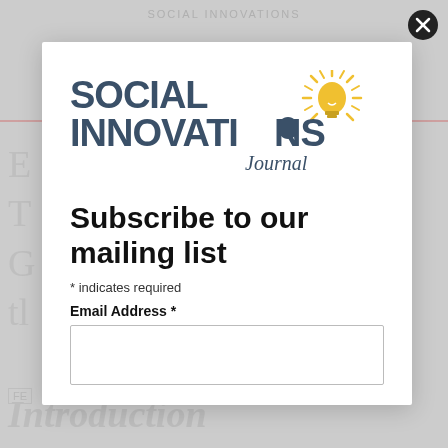[Figure (logo): Social Innovations Journal logo with lightbulb sun graphic and text 'SOCIAL INNOVATIONS Journal']
Subscribe to our mailing list
* indicates required
Email Address *